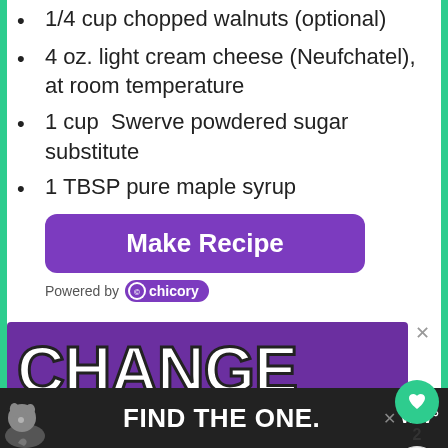1/4 cup chopped walnuts (optional)
4 oz. light cream cheese (Neufchatel), at room temperature
1 cup  Swerve powdered sugar substitute
1 TBSP pure maple syrup
[Figure (screenshot): Purple 'Make Recipe' button with Chicory branding below it]
[Figure (screenshot): Advertisement banner showing 'CHANGE A LIFE' text on purple background with close button]
[Figure (screenshot): Bottom banner ad showing a dog and 'FIND THE ONE' text on dark background with WW logo]